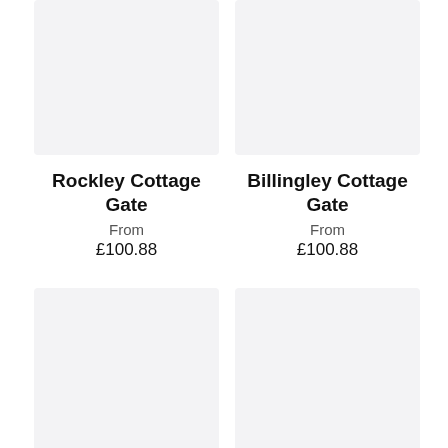[Figure (photo): Product image placeholder for Rockley Cottage Gate, light grey background]
Rockley Cottage Gate
From
£100.88
[Figure (photo): Product image placeholder for Billingley Cottage Gate, light grey background]
Billingley Cottage Gate
From
£100.88
[Figure (photo): Product image placeholder for Hoylandswaine Cottage Gate, light grey background]
Hoylandswaine Cottage Gate
From
[Figure (photo): Product image placeholder for Keresforth Cottage Gate, light grey background]
Keresforth Cottage Gate
From